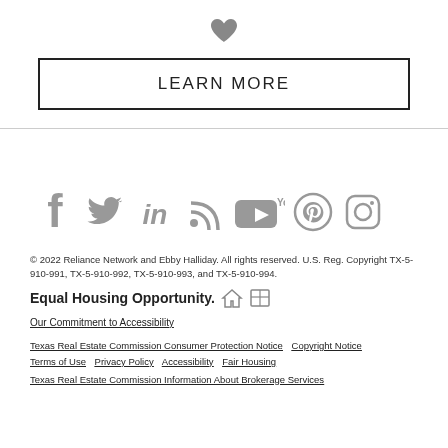[Figure (illustration): Heart icon, dark gray, centered at top]
LEARN MORE
[Figure (illustration): Social media icons row: Facebook, Twitter, LinkedIn, RSS, YouTube, Pinterest, Instagram — all gray]
© 2022 Reliance Network and Ebby Halliday. All rights reserved. U.S. Reg. Copyright TX-5-910-991, TX-5-910-992, TX-5-910-993, and TX-5-910-994.
Equal Housing Opportunity.
Our Commitment to Accessibility
Texas Real Estate Commission Consumer Protection Notice   Copyright Notice   Terms of Use   Privacy Policy   Accessibility   Fair Housing
Texas Real Estate Commission Information About Brokerage Services